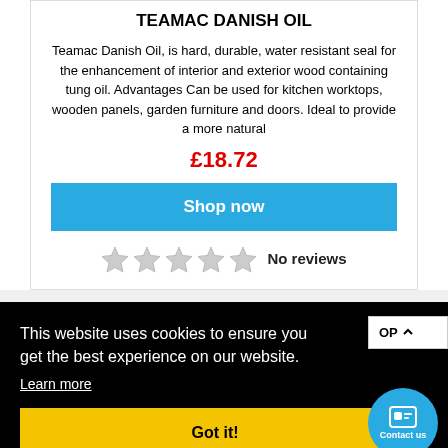TEAMAC DANISH OIL
Teamac Danish Oil, is hard, durable, water resistant seal for the enhancement of interior and exterior wood containing tung oil. Advantages Can be used for kitchen worktops, wooden panels, garden furniture and doors. Ideal to provide a more natural
£18.72
Shop now
No reviews
This website uses cookies to ensure you get the best experience on our website.
Learn more
Got it!
OP
Contact us
Rawlins Paints